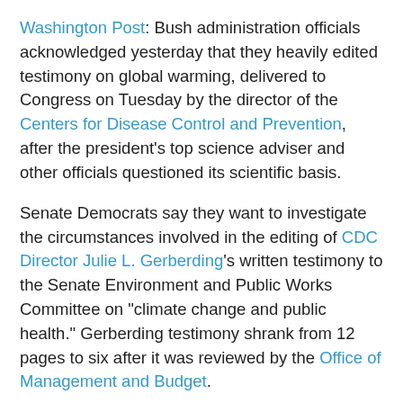Washington Post: Bush administration officials acknowledged yesterday that they heavily edited testimony on global warming, delivered to Congress on Tuesday by the director of the Centers for Disease Control and Prevention, after the president's top science adviser and other officials questioned its scientific basis.
Senate Democrats say they want to investigate the circumstances involved in the editing of CDC Director Julie L. Gerberding's written testimony to the Senate Environment and Public Works Committee on "climate change and public health." Gerberding testimony shrank from 12 pages to six after it was reviewed by the Office of Management and Budget.
The OMB removed several sections of the testimony that detailed how global warming would affect Americans, according to White House spokeswoman Dana Perino, because John H. Marburger III, who directs the Office of Science and Technology Policy, and his staff questioned whether Gerberding's statements matched those released this year by the U.N. Intergovernmental Panel on Climate